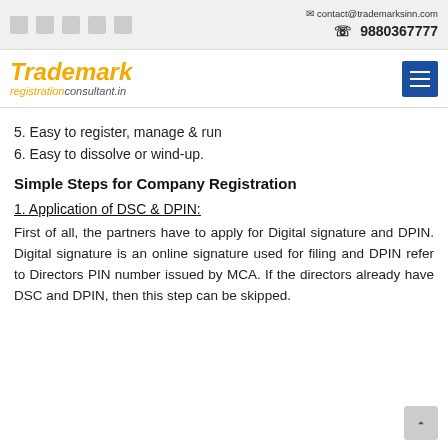contact@trademarksinn.com | 9880367777
[Figure (logo): Trademark registrationconsultant.in logo with hamburger menu icon]
5. Easy to register, manage & run
6. Easy to dissolve or wind-up.
Simple Steps for Company Registration
1. Application of DSC & DPIN:
First of all, the partners have to apply for Digital signature and DPIN. Digital signature is an online signature used for filing and DPIN refer to Directors PIN number issued by MCA. If the directors already have DSC and DPIN, then this step can be skipped.